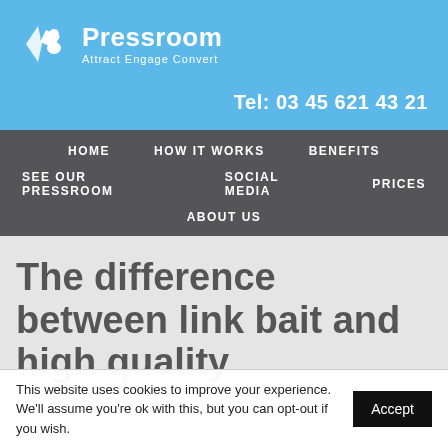[Figure (logo): Pressroom logo with icon and tagline 'Attract Engage Convert']
Tel: 03 45 621 43 21
HOME   HOW IT WORKS   BENEFITS   SEE OUR PRESSROOM   SOCIAL MEDIA   PRICES   ABOUT US
The difference between link bait and high quality
This website uses cookies to improve your experience. We'll assume you're ok with this, but you can opt-out if you wish.